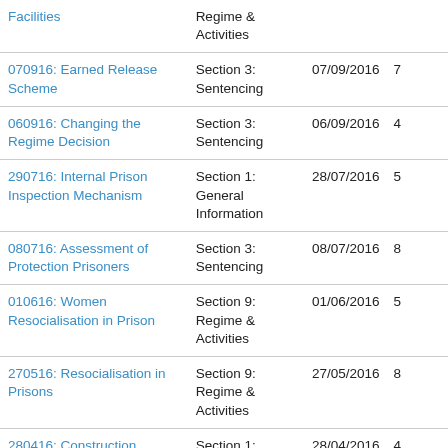| Title | Section | Date | Num |  |
| --- | --- | --- | --- | --- |
| Facilities | Regime & Activities |  |  |  |
| 070916: Earned Release Scheme | Section 3: Sentencing | 07/09/2016 | 7 |  |
| 060916: Changing the Regime Decision | Section 3: Sentencing | 06/09/2016 | 4 |  |
| 290716: Internal Prison Inspection Mechanism | Section 1: General Information | 28/07/2016 | 5 |  |
| 080716: Assessment of Protection Prisoners | Section 3: Sentencing | 08/07/2016 | 8 |  |
| 010616: Women Resocialisation in Prison | Section 9: Regime & Activities | 01/06/2016 | 5 |  |
| 270516: Resocialisation in Prisons | Section 9: Regime & Activities | 27/05/2016 | 8 |  |
| 280416: Construction | Section 1: | 28/04/2016 | 4 |  |